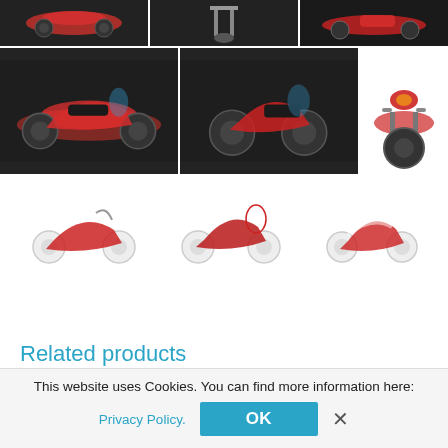[Figure (photo): Grid of 6 motorcycle/scooter product thumbnails on dark backgrounds, plus 3 smaller scooter thumbnails on white background]
Related products
[Figure (photo): Product card showing a small red vehicle/cart item below a chevron up arrow]
This website uses Cookies. You can find more information here:
Privacy Policy.
OK